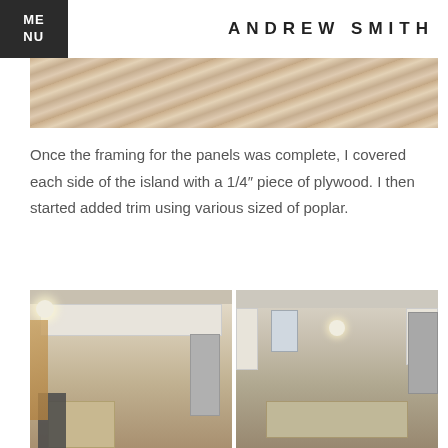ME NU | ANDREW SMITH
[Figure (photo): Close-up photo of wood flooring or wood panels being installed, showing diagonal wood grain pattern in warm brown tones]
Once the framing for the panels was complete, I covered each side of the island with a 1/4″ piece of plywood. I then started added trim using various sized of poplar.
[Figure (photo): Two side-by-side photos of a kitchen with white cabinets. Left photo shows a kitchen island with a dark stool and stainless steel refrigerator. Right photo shows a wide view of the same kitchen with a pendant light and kitchen island.]